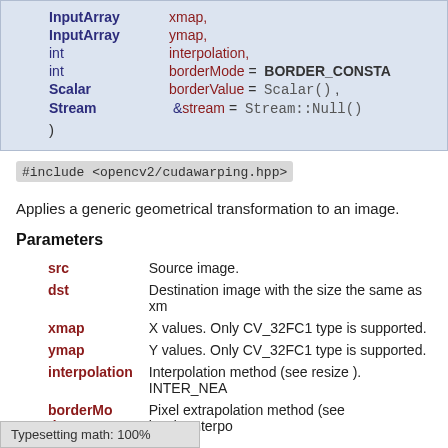InputArray  xmap,
InputArray  ymap,
int  interpolation,
int  borderMode = BORDER_CONSTA
Scalar  borderValue = Scalar() ,
Stream &  stream = Stream::Null()
)
#include <opencv2/cudawarping.hpp>
Applies a generic geometrical transformation to an image.
Parameters
src — Source image.
dst — Destination image with the size the same as xm
xmap — X values. Only CV_32FC1 type is supported.
ymap — Y values. Only CV_32FC1 type is supported.
interpolation — Interpolation method (see resize ). INTER_NEA
borderMode — Pixel extrapolation method (see borderInterpo
Typesetting math: 100%